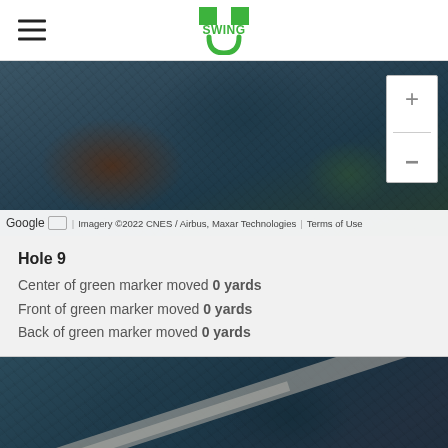SwingU app header with hamburger menu and SwingU logo
[Figure (screenshot): Aerial/satellite map view of a golf hole (Hole 9) with zoom controls (+/-) and Google imagery attribution bar at bottom: 'Google | Imagery ©2022 CNES / Airbus, Maxar Technologies | Terms of Use']
Hole 9
Center of green marker moved 0 yards
Front of green marker moved 0 yards
Back of green marker moved 0 yards
[Figure (screenshot): Aerial/satellite map view of a golf hole area, partially visible, showing a path or fairway]